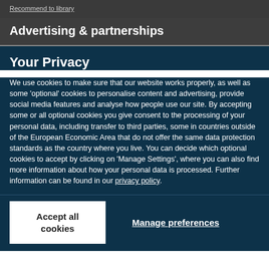Recommend to library
Advertising & partnerships
Your Privacy
We use cookies to make sure that our website works properly, as well as some 'optional' cookies to personalise content and advertising, provide social media features and analyse how people use our site. By accepting some or all optional cookies you give consent to the processing of your personal data, including transfer to third parties, some in countries outside of the European Economic Area that do not offer the same data protection standards as the country where you live. You can decide which optional cookies to accept by clicking on 'Manage Settings', where you can also find more information about how your personal data is processed. Further information can be found in our privacy policy.
Accept all cookies
Manage preferences